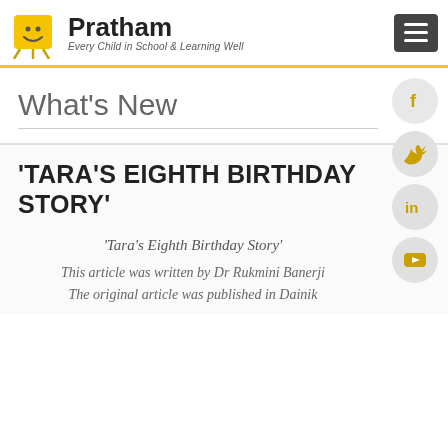Pratham — Every Child in School & Learning Well
What's New
'TARA'S EIGHTH BIRTHDAY STORY'
'Tara's Eighth Birthday Story'
This article was written by Dr Rukmini Banerji The original article was published in Dainik